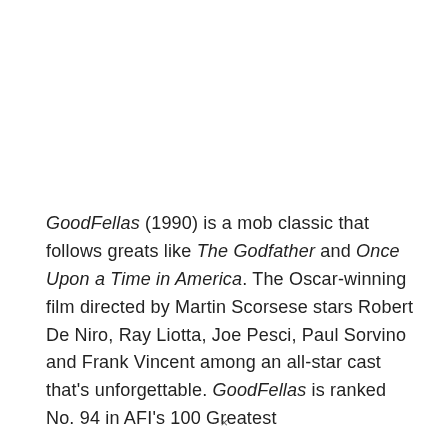GoodFellas (1990) is a mob classic that follows greats like The Godfather and Once Upon a Time in America. The Oscar-winning film directed by Martin Scorsese stars Robert De Niro, Ray Liotta, Joe Pesci, Paul Sorvino and Frank Vincent among an all-star cast that's unforgettable. GoodFellas is ranked No. 94 in AFI's 100 Greatest